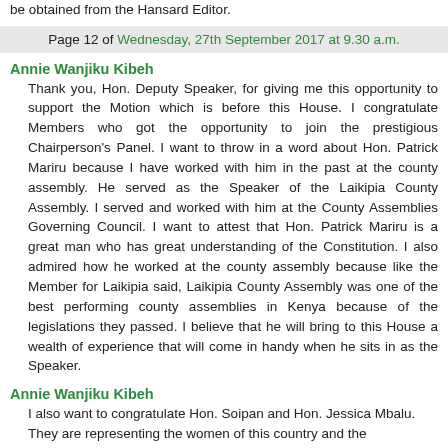be obtained from the Hansard Editor.
Page 12 of Wednesday, 27th September 2017 at 9.30 a.m.
Annie Wanjiku Kibeh
Thank you, Hon. Deputy Speaker, for giving me this opportunity to support the Motion which is before this House. I congratulate Members who got the opportunity to join the prestigious Chairperson's Panel. I want to throw in a word about Hon. Patrick Mariru because I have worked with him in the past at the county assembly. He served as the Speaker of the Laikipia County Assembly. I served and worked with him at the County Assemblies Governing Council. I want to attest that Hon. Patrick Mariru is a great man who has great understanding of the Constitution. I also admired how he worked at the county assembly because like the Member for Laikipia said, Laikipia County Assembly was one of the best performing county assemblies in Kenya because of the legislations they passed. I believe that he will bring to this House a wealth of experience that will come in handy when he sits in as the Speaker.
Annie Wanjiku Kibeh
I also want to congratulate Hon. Soipan and Hon. Jessica Mbalu. They are representing the women of this country and they…